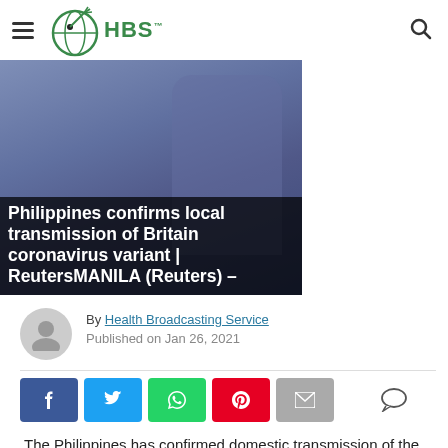HBS Health Broadcasting Service
[Figure (photo): News article hero image showing a person wearing a mask, overlaid with bold white text about Philippines confirming local transmission of Britain coronavirus variant, Reuters dateline]
Philippines confirms local transmission of Britain coronavirus variant | ReutersMANILA (Reuters) –
By Health Broadcasting Service
Published on Jan 26, 2021
[Figure (infographic): Social sharing buttons: Facebook (blue), Twitter (cyan), WhatsApp (green), Pinterest (red), Email (grey), and a comment bubble icon]
The Philippines has confirmed domestic transmission of the new, highly contagious British variant of the coronavirus, prompting